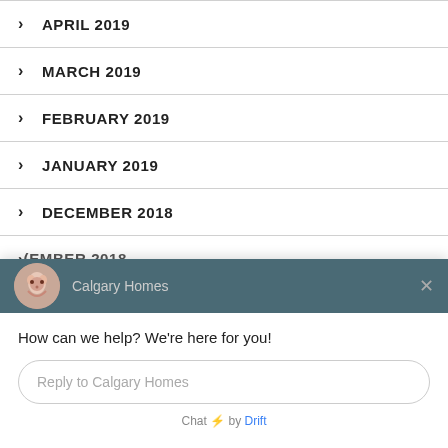> APRIL 2019
> MARCH 2019
> FEBRUARY 2019
> JANUARY 2019
> DECEMBER 2018
> (EMBER 2018
[Figure (screenshot): Chat widget overlay from Drift showing Calgary Homes chatbot with avatar, greeting message 'How can we help? We're here for you!', reply input field, and 'Chat by Drift' footer.]